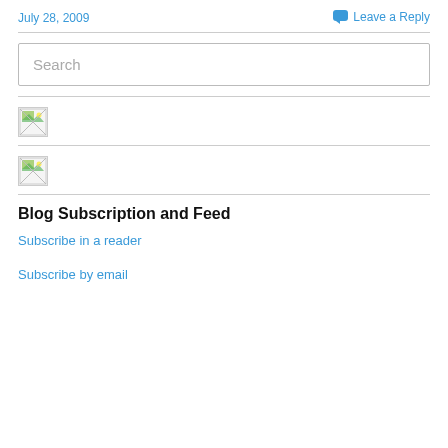July 28, 2009
Leave a Reply
Search
[Figure (other): Broken image placeholder (small icon)]
[Figure (other): Broken image placeholder (small icon)]
Blog Subscription and Feed
Subscribe in a reader
Subscribe by email